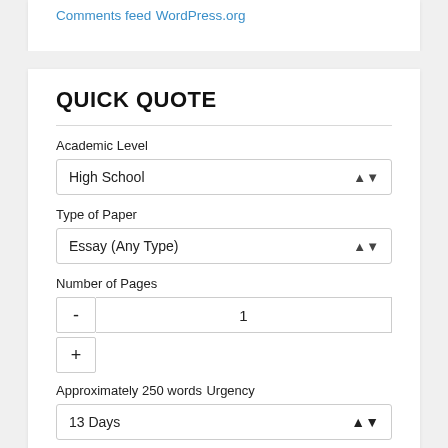Comments feed
WordPress.org
QUICK QUOTE
Academic Level
High School
Type of Paper
Essay (Any Type)
Number of Pages
1
Approximately 250 words
Urgency
13 Days